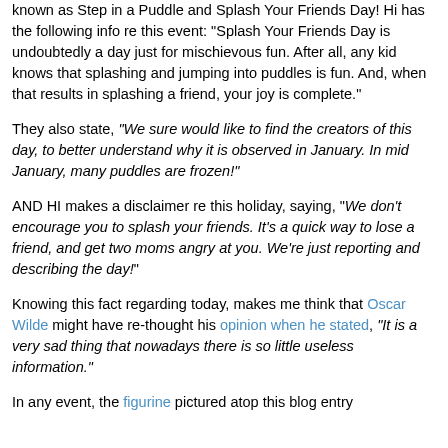known as Step in a Puddle and Splash Your Friends Day! Hi has the following info re this event: "Splash Your Friends Day is undoubtedly a day just for mischievous fun. After all, any kid knows that splashing and jumping into puddles is fun. And, when that results in splashing a friend, your joy is complete."
They also state, "We sure would like to find the creators of this day, to better understand why it is observed in January. In mid January, many puddles are frozen!"
AND HI makes a disclaimer re this holiday, saying, "We don't encourage you to splash your friends. It's a quick way to lose a friend, and get two moms angry at you. We're just reporting and describing the day!"
Knowing this fact regarding today, makes me think that Oscar Wilde might have re-thought his opinion when he stated, "It is a very sad thing that nowadays there is so little useless information."
In any event, the figurine pictured atop this blog entry